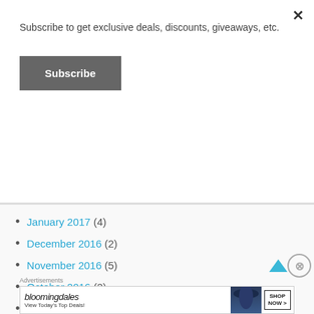Subscribe to get exclusive deals, discounts, giveaways, etc.
Subscribe
January 2017 (4)
December 2016 (2)
November 2016 (5)
October 2016 (2)
September 2016 (2)
August 2016 (3)
July 2016 (1)
Advertisements
[Figure (other): Bloomingdales advertisement banner: 'View Today's Top Deals!' with SHOP NOW button and woman in hat image]